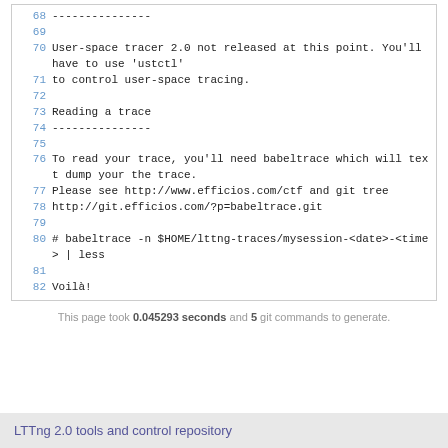68 ---------------
69 
70 User-space tracer 2.0 not released at this point. You'll have to use 'ustctl'
71 to control user-space tracing.
72 
73 Reading a trace
74 ---------------
75 
76 To read your trace, you'll need babeltrace which will text dump your the trace.
77 Please see http://www.efficios.com/ctf and git tree
78 http://git.efficios.com/?p=babeltrace.git
79 
80 # babeltrace -n $HOME/lttng-traces/mysession-<date>-<time> | less
81 
82 Voilà!
This page took 0.045293 seconds and 5 git commands to generate.
LTTng 2.0 tools and control repository